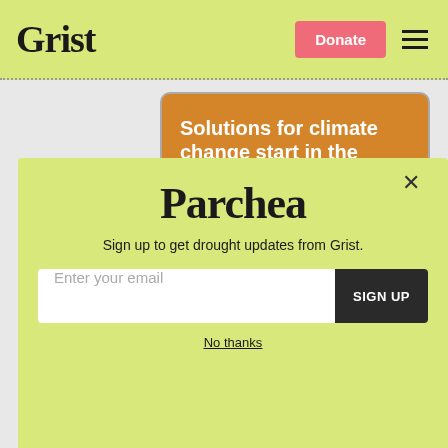Grist | Donate
[Figure (infographic): Orange rounded rectangle advertisement banner reading 'Solutions for climate change start in the South.' with a 'FIND OUT HOW' button.]
Cli...
Parchea
Sign up to get drought updates from Grist.
Enter your email | SIGN UP
No thanks